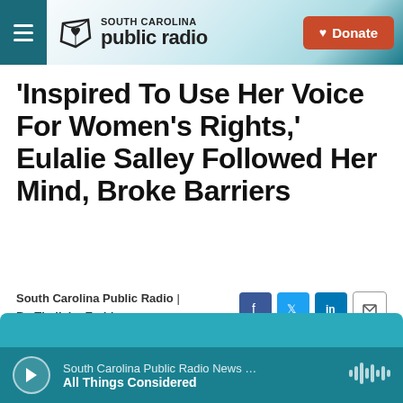South Carolina Public Radio | Donate
'Inspired To Use Her Voice For Women's Rights,' Eulalie Salley Followed Her Mind, Broke Barriers
South Carolina Public Radio | By Thelisha Eaddy
Published July 28, 2020 at 5:48 AM EDT
South Carolina Public Radio News … All Things Considered